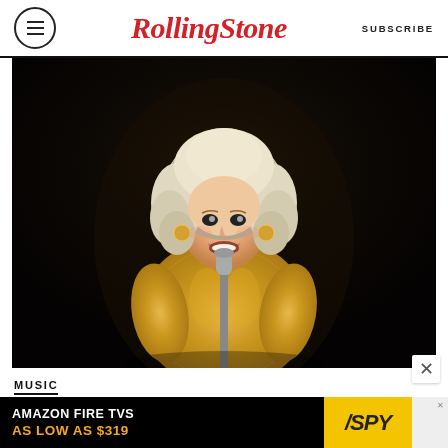Rolling Stone | SUBSCRIBE
[Figure (photo): Dolly Parton performing on stage in a gold sequin dress with blonde curly hair, singing into a microphone against a dark background.]
MUSIC
Dolly Parton and Kelly Clarkson Are Re-Recording '9 to 5'
[Figure (other): Advertisement banner: AMAZON FIRE TVS AS LOW AS $319 / SPY]